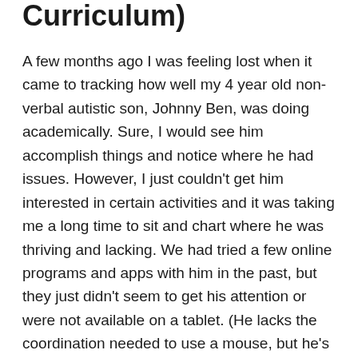Curriculum)
A few months ago I was feeling lost when it came to tracking how well my 4 year old non-verbal autistic son, Johnny Ben, was doing academically. Sure, I would see him accomplish things and notice where he had issues. However, I just couldn't get him interested in certain activities and it was taking me a long time to sit and chart where he was thriving and lacking. We had tried a few online programs and apps with him in the past, but they just didn't seem to get his attention or were not available on a tablet. (He lacks the coordination needed to use a mouse, but he's getting close!) I whispered a prayer that God would help me find a preschool curriculum that would match his needs, be fun, and challenge him but also not break our bank.  It wasn't but a few days later that I received an email from Miss Humblebee's Academy asking if I would be interested in reviewing their program. (Can you see where this is going? It's pretty exciting!)